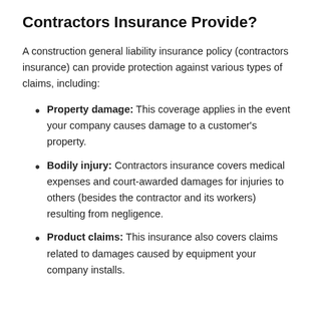Contractors Insurance Provide?
A construction general liability insurance policy (contractors insurance) can provide protection against various types of claims, including:
Property damage: This coverage applies in the event your company causes damage to a customer's property.
Bodily injury: Contractors insurance covers medical expenses and court-awarded damages for injuries to others (besides the contractor and its workers) resulting from negligence.
Product claims: This insurance also covers claims related to damages caused by equipment your company installs.